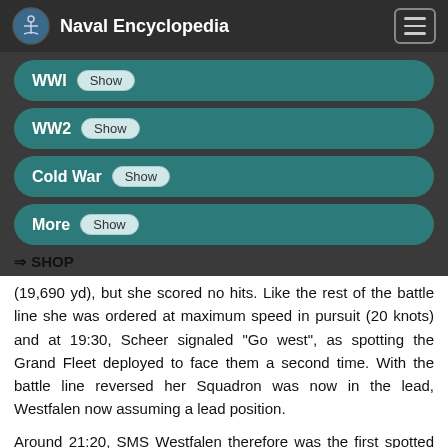Naval Encyclopedia
WWI Show
WW2 Show
Cold War Show
More Show
⇒ SHOP
(19,690 yd), but she scored no hits. Like the rest of the battle line she was ordered at maximum speed in pursuit (20 knots) and at 19:30, Scheer signaled "Go west", as spotting the Grand Fleet deployed to face them a second time. With the battle line reversed her Squadron was now in the lead, Westfalen now assuming a lead position.
Around 21:20, SMS Westfalen therefore was the first spotted and engaged by the British battlecruisers of the 3rd Battlecruiser Squadron, soon straddled and showered with